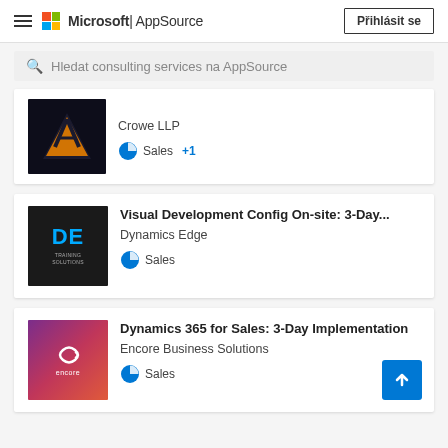Microsoft AppSource — Přihlásit se
Hledat consulting services na AppSource
[Figure (screenshot): Crowe LLP listing card with orange triangle logo, partial title visible, Sales tag with +1]
[Figure (screenshot): Visual Development Config On-site: 3-Day... by Dynamics Edge, DE Training Solutions logo, Sales tag]
[Figure (screenshot): Dynamics 365 for Sales: 3-Day Implementation by Encore Business Solutions, purple Encore logo, Sales tag, scroll-to-top button]